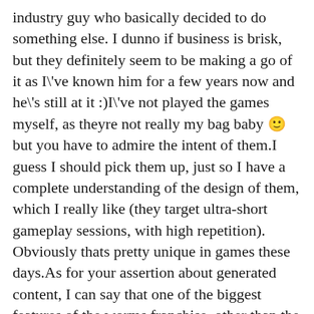industry guy who basically decided to do something else. I dunno if business is brisk, but they definitely seem to be making a go of it as I\'ve known him for a few years now and he\'s still at it :)I\'ve not played the games myself, as theyre not really my bag baby 🙂 but you have to admire the intent of them.I guess I should pick them up, just so I have a complete understanding of the design of them, which I really like (they target ultra-short gameplay sessions, with high repetition). Obviously thats pretty unique in games these days.As for your assertion about generated content, I can say that one of the biggest features of the worms franchise, other than the customisation of the worms themselves has been the generation on the fly of the levels to play on. We obviously spent a fair amount of the development time on this feature, but honestly it brought so many benefits its amazing. We had in the end, a bunch of hand-build content and a generation feature that automated generation of random